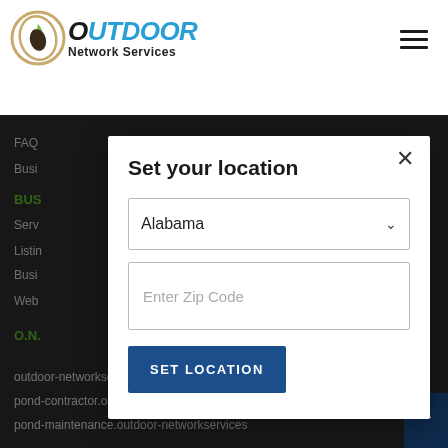[Figure (logo): Outdoor Network Services logo with circular icon and text]
FAQ
Busi
BUS
Serv
Listin
Busi
Web
O.N.
outdoor-networkservices
pond-contractor.outdoor-networkservices
pond-maintenance.outdoor-networkservices
Set your location
Alabama
Enter Zip Code
SET LOCATION